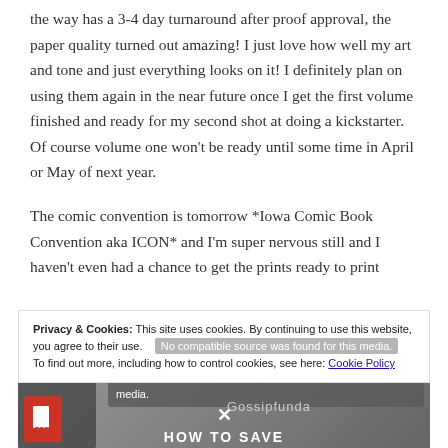the way has a 3-4 day turnaround after proof approval, the paper quality turned out amazing! I just love how well my art and tone and just everything looks on it! I definitely plan on using them again in the near future once I get the first volume finished and ready for my second shot at doing a kickstarter. Of course volume one won't be ready until some time in April or May of next year.
The comic convention is tomorrow *Iowa Comic Book Convention aka ICON* and I'm super nervous still and I haven't even had a chance to get the prints ready to print
Privacy & Cookies: This site uses cookies. By continuing to use this website, you agree to their use. No compatible source was found for this media. To find out more, including how to control cookies, see here: Cookie Policy
[Figure (screenshot): Video player overlay showing 'No compatible source was found for this media' with Gossipfunda branding, an X close button, and 'HOW TO SAVE' text. A PDF icon is visible in the lower left.]